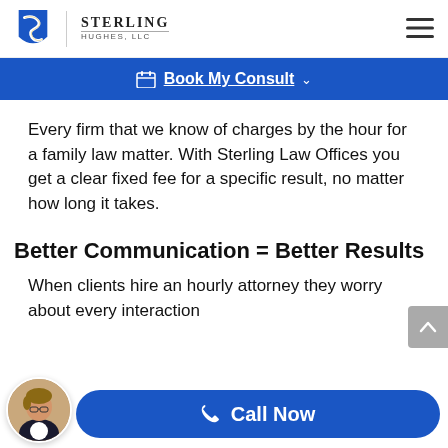Sterling Hughes, LLC
Book My Consult
Every firm that we know of charges by the hour for a family law matter. With Sterling Law Offices you get a clear fixed fee for a specific result, no matter how long it takes.
Better Communication = Better Results
When clients hire an hourly attorney they worry about every interaction
Call Now